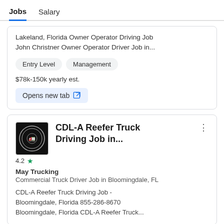Jobs  Salary
Lakeland, Florida Owner Operator Driving Job John Christner Owner Operator Driver Job in...
Entry Level
Management
$78k-150k yearly est.
Opens new tab
CDL-A Reefer Truck Driving Job in...
May Trucking
Commercial Truck Driver Job in Bloomingdale, FL
CDL-A Reefer Truck Driving Job - Bloomingdale, Florida 855-286-8670 Bloomingdale, Florida CDL-A Reefer Truck...